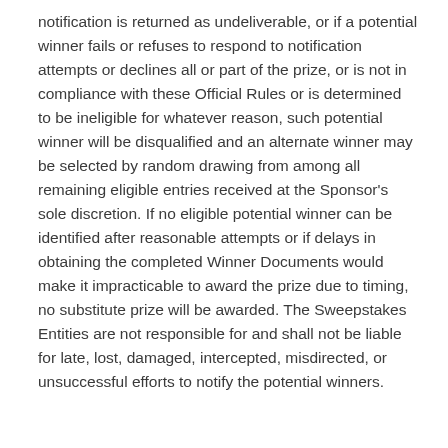notification is returned as undeliverable, or if a potential winner fails or refuses to respond to notification attempts or declines all or part of the prize, or is not in compliance with these Official Rules or is determined to be ineligible for whatever reason, such potential winner will be disqualified and an alternate winner may be selected by random drawing from among all remaining eligible entries received at the Sponsor's sole discretion. If no eligible potential winner can be identified after reasonable attempts or if delays in obtaining the completed Winner Documents would make it impracticable to award the prize due to timing, no substitute prize will be awarded. The Sweepstakes Entities are not responsible for and shall not be liable for late, lost, damaged, intercepted, misdirected, or unsuccessful efforts to notify the potential winners.